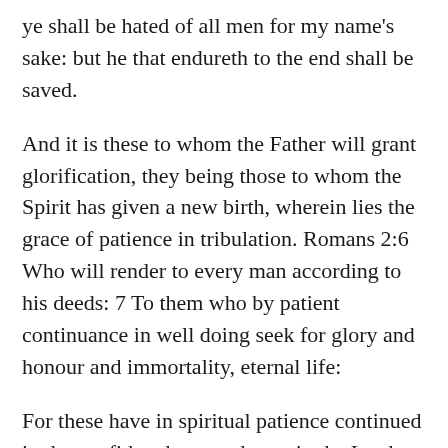ye shall be hated of all men for my name's sake: but he that endureth to the end shall be saved.
And it is these to whom the Father will grant glorification, they being those to whom the Spirit has given a new birth, wherein lies the grace of patience in tribulation. Romans 2:6 Who will render to every man according to his deeds: 7 To them who by patient continuance in well doing seek for glory and honour and immortality, eternal life:
For these have in spiritual patience continued in the confident hope and trust in the Lord and his word! Romans 8:24 For we are saved by hope: but hope that is seen is not hope: for what a man